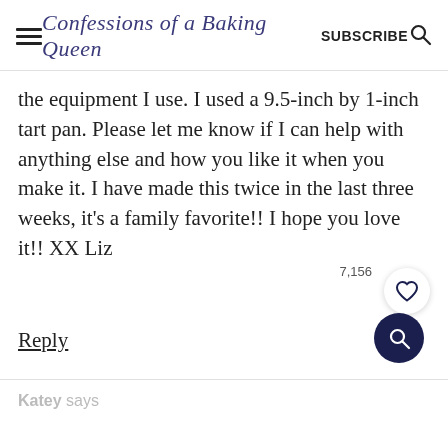Confessions of a Baking Queen  SUBSCRIBE
the equipment I use. I used a 9.5-inch by 1-inch tart pan. Please let me know if I can help with anything else and how you like it when you make it. I have made this twice in the last three weeks, it's a family favorite!! I hope you love it!! XX Liz
Reply
Katey says